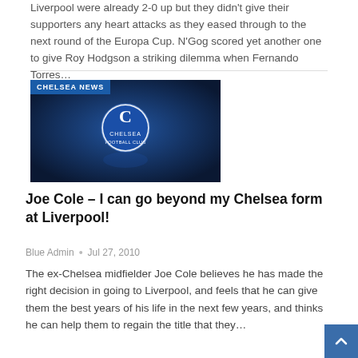Liverpool were already 2-0 up but they didn't give their supporters any heart attacks as they eased through to the next round of the Europa Cup. N'Gog scored yet another one to give Roy Hodgson a striking dilemma when Fernando Torres...
[Figure (photo): Chelsea FC crest/logo on a dark blue background with 'CHELSEA NEWS' label overlay in the top-left corner]
Joe Cole – I can go beyond my Chelsea form at Liverpool!
Blue Admin  •  Jul 27, 2010
The ex-Chelsea midfielder Joe Cole believes he has made the right decision in going to Liverpool, and feels that he can give them the best years of his life in the next few years, and thinks he can help them to regain the title that they...